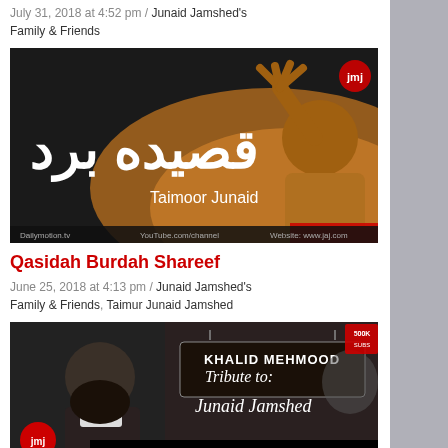July 31, 2018 at 4:52 pm / Junaid Jamshed's Family & Friends
[Figure (photo): Qasidah Burdah Shareef video thumbnail showing Arabic/Urdu text 'Qasidah Burd' and 'Taimoor Junaid' with person raising hand in background]
Qasidah Burdah Shareef
June 25, 2018 at 4:13 pm / Junaid Jamshed's Family & Friends, Taimur Junaid Jamshed
[Figure (photo): Khalid Mehmood Tribute to Junaid Jamshed video thumbnail showing man with beard and text '1.8 + MILLIONS VIEWS', 'FullHD 1920x1080']